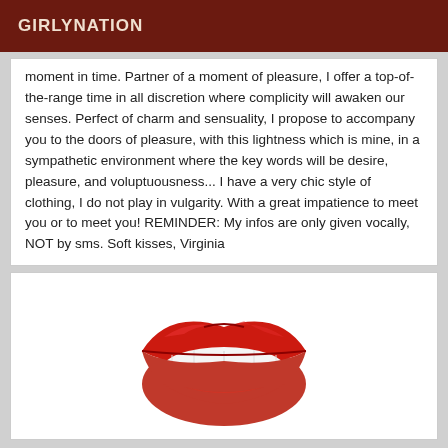GIRLYNATION
moment in time. Partner of a moment of pleasure, I offer a top-of-the-range time in all discretion where complicity will awaken our senses. Perfect of charm and sensuality, I propose to accompany you to the doors of pleasure, with this lightness which is mine, in a sympathetic environment where the key words will be desire, pleasure, and voluptuousness... I have a very chic style of clothing, I do not play in vulgarity. With a great impatience to meet you or to meet you! REMINDER: My infos are only given vocally, NOT by sms. Soft kisses, Virginia
[Figure (illustration): Red lips illustration with white teeth showing, cartoon/clip-art style]